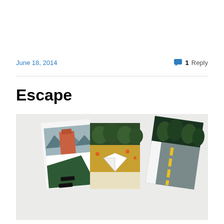June 18, 2014
1 Reply
Escape
[Figure (photo): Three small painted artworks arranged on a white surface. Left piece shows mountains, a red/orange building, and a dark green road. Middle piece shows trees and golden field with a white open-book form. Right piece shows a grey road with yellow dashes and dark trees.]